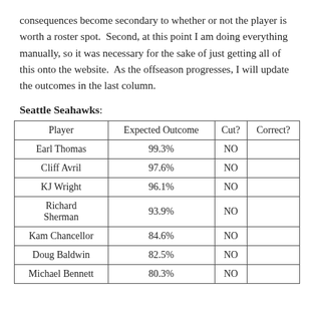consequences become secondary to whether or not the player is worth a roster spot.  Second, at this point I am doing everything manually, so it was necessary for the sake of just getting all of this onto the website.  As the offseason progresses, I will update the outcomes in the last column.
Seattle Seahawks:
| Player | Expected Outcome | Cut? | Correct? |
| --- | --- | --- | --- |
| Earl Thomas | 99.3% | NO |  |
| Cliff Avril | 97.6% | NO |  |
| KJ Wright | 96.1% | NO |  |
| Richard Sherman | 93.9% | NO |  |
| Kam Chancellor | 84.6% | NO |  |
| Doug Baldwin | 82.5% | NO |  |
| Michael Bennett | 80.3% | NO |  |